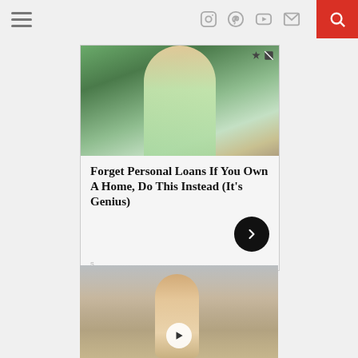Navigation bar with hamburger menu, social icons (Instagram, Pinterest, YouTube, Email), and red search button
[Figure (infographic): Advertisement banner: photo of woman in green dress at top, text 'Forget Personal Loans If You Own A Home, Do This Instead (It's Genius)' with black circular arrow button]
[Figure (photo): Child standing outdoors in sandy/rocky terrain, with a play button overlay indicating a video]